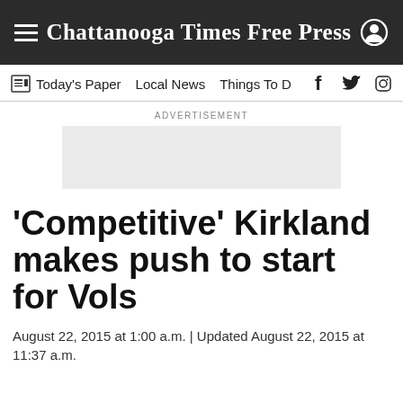Chattanooga Times Free Press
Today's Paper  Local News  Things To D
[Figure (other): Advertisement placeholder box (grey rectangle)]
'Competitive' Kirkland makes push to start for Vols
August 22, 2015 at 1:00 a.m. | Updated August 22, 2015 at 11:37 a.m.